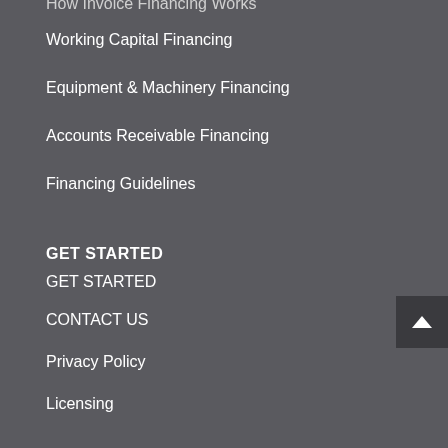How Invoice Financing Works
Working Capital Financing
Equipment & Machinery Financing
Accounts Receivable Financing
Financing Guidelines
GET STARTED
GET STARTED
CONTACT US
Privacy Policy
Licensing